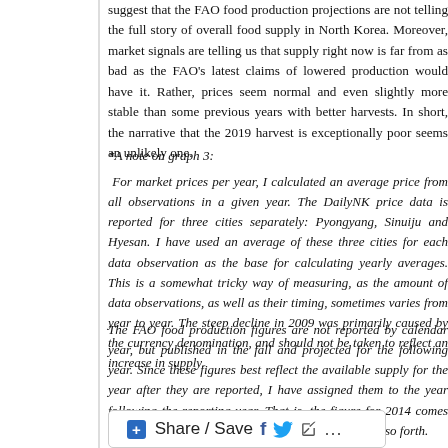suggest that the FAO food production projections are not telling the full story of overall food supply in North Korea. Moreover, market signals are telling us that supply right now is far from as bad as the FAO's latest claims of lowered production would have it. Rather, prices seem normal and even slightly more stable than some previous years with better harvests. In short, the narrative that the 2019 harvest is exceptionally poor seems an unlikely one.
*A note on graph 3:
For market prices per year, I calculated an average price from all observations in a given year. The DailyNK price data is reported for three cities separately: Pyongyang, Sinuiju and Hyesan. I have used an average of these three cities for each data observation as the base for calculating yearly averages. This is a somewhat tricky way of measuring, as the amount of data observations, as well as their timing, sometimes varies from year to year. The steep decline in 2009 was primarily caused by the currency denomination, and should not be taken to reflect an increase in supply.
The FAO food production figures are not reported by calendar year, but published in the fall and projected for the following year. Since these figures best reflect the available supply for the year after they are reported, I have assigned them to the year following the reporting year. That is, the figure for 2014 comes from the FAO estimate for 2013/2014, and so on and so forth.
[Figure (other): Share / Save social media button with Facebook, Twitter, share and ellipsis icons]